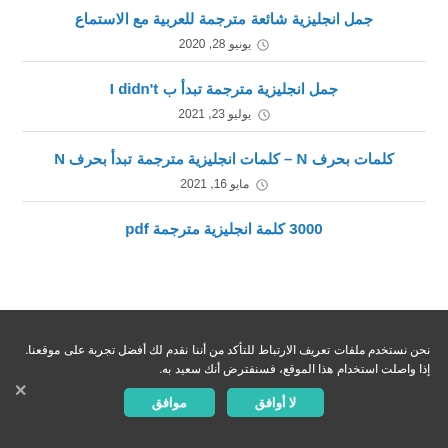جمل انجليزية شائعة مترجمة للعربية مع الاستماع
يونيو 28, 2020
جمل انجليزية مترجمة تبدأ ب I didn't
يوليو 23, 2021
كلمات بحرف N – كلمات انجليزية مترجمة تبدأ بحرف N
مايو 16, 2021
3000 كلمة انجليزية مترجمة pdf
نحن نستخدم ملفات تعريف الارتباط للتأكد من أننا نقدم لك أفضل تجربة على موقعنا. إذا واصلت استخدام هذا الموقع، فسنفترض أنك سعيد به.
لا أوافق
موافق